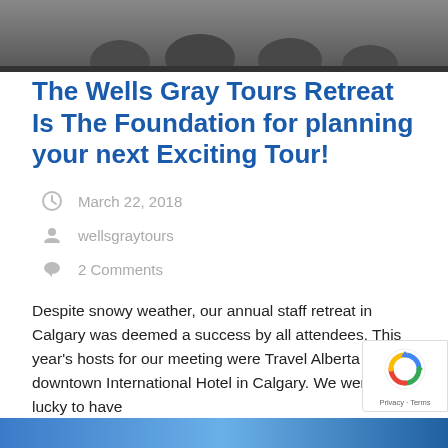[Figure (photo): Top banner photo showing people seated, partially cropped at the top of the page]
The Wells Gray Tours Retreat Is The Foundation for planning your next Exciting Tour!
March 22, 2018
wellsgraytours
2 Comments
Despite snowy weather, our annual staff retreat in Calgary was deemed a success by all attendees. This year's hosts for our meeting were Travel Alberta and the downtown International Hotel in Calgary. We were very lucky to have
Read More >
[Figure (photo): Bottom banner photo with blue tones, partially visible at bottom of page]